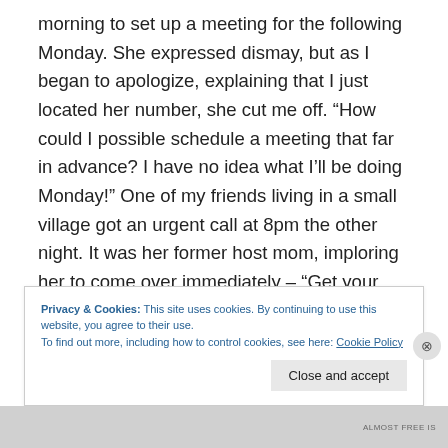morning to set up a meeting for the following Monday. She expressed dismay, but as I began to apologize, explaining that I just located her number, she cut me off. “How could I possible schedule a meeting that far in advance? I have no idea what I’ll be doing Monday!” One of my friends living in a small village got an urgent call at 8pm the other night. It was her former host mom, imploring her to come over immediately – “Get your shoes on, don’t even stop to comb
Privacy & Cookies: This site uses cookies. By continuing to use this website, you agree to their use.
To find out more, including how to control cookies, see here: Cookie Policy
Close and accept